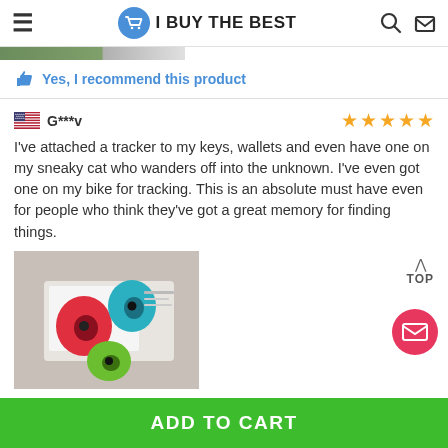I BUY THE BEST
[Figure (screenshot): Partial top image strip showing a green/grey photo thumbnail edge]
Yes, I recommend this product
G***v — 5 stars
I've attached a tracker to my keys, wallets and even have one on my sneaky cat who wanders off into the unknown. I've even got one on my bike for tracking. This is an absolute must have even for people who think they've got a great memory for finding things.
[Figure (photo): Photo of colorful Tile/Bluetooth tracker devices in red, blue/teal, and green, sitting in packaging]
ADD TO CART